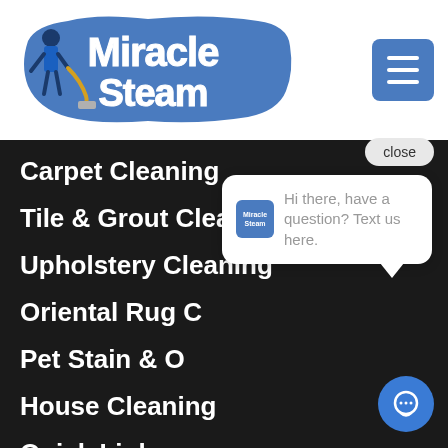[Figure (logo): Miracle Steam logo with man holding cleaning equipment on blue brushstroke background]
Carpet Cleaning
Tile & Grout Cleaning
Upholstery Cleaning
Oriental Rug C[leaning]
Pet Stain & O[dor]
House Cleaning
Quick Links
close
Hi there, have a question? Text us here.